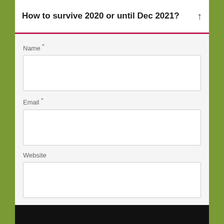How to survive 2020 or until Dec 2021?
Name *
Email *
Website
Save my name, email, and website in this browser for the next time I comment.